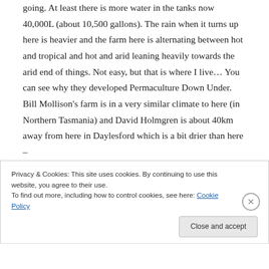going. At least there is more water in the tanks now 40,000L (about 10,500 gallons). The rain when it turns up here is heavier and the farm here is alternating between hot and tropical and hot and arid leaning heavily towards the arid end of things. Not easy, but that is where I live… You can see why they developed Permaculture Down Under. Bill Mollison's farm is in a very similar climate to here (in Northern Tasmania) and David Holmgren is about 40km away from here in Daylesford which is a bit drier than here –
Privacy & Cookies: This site uses cookies. By continuing to use this website, you agree to their use.
To find out more, including how to control cookies, see here: Cookie Policy